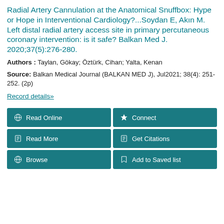Radial Artery Cannulation at the Anatomical Snuffbox: Hype or Hope in Interventional Cardiology?...Soydan E, Akın M. Left distal radial artery access site in primary percutaneous coronary intervention: is it safe? Balkan Med J. 2020;37(5):276-280.
Authors : Taylan, Gökay; Öztürk, Cihan; Yalta, Kenan
Source: Balkan Medical Journal (BALKAN MED J), Jul2021; 38(4): 251-252. (2p)
Record details»
Read Online | Connect | Read More | Get Citations | Browse | Add to Saved list